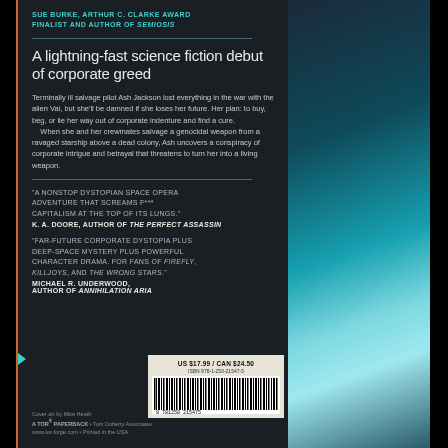SUE BURKE, ARTHUR C. CLARKE AWARD FINALIST AND AUTHOR OF SEMIOSIS
A lightning-fast science fiction debut of corporate greed
Terminally ill salvage pilot Ash Jackson lost everything in the war with the alien Vai, but she'll be damned if she loses her future. Her plan: to buy, beg, or lie her way out of corporate indenture and find a cure.
    When she and her crewmates salvage a genocidal weapon from a ravaged starship above a dead colony, Ash uncovers a conspiracy of corporate intrigue and betrayal that threatens to turn her into a living weapon.
"A NONSTOP DYSTOPIAN SPACE OPERA ADVENTURE THAT SCREAMS F*** CAPITALISM AT THE TOP OF ITS LUNGS."
K. A. DOORE, AUTHOR OF THE PERFECT ASSASSIN
"FAR-FUTURE CORPORATE DYSTOPIA PLUS DEEP-SPACE MYSTERY PLUS POWERFUL CHARACTER DRAMA. FOR FANS OF FIREFLY, KILLJOYS, AND THE WRONG STARS."
MICHAEL R. UNDERWOOD, AUTHOR OF ANNIHILATION ARIA
Cover art by Mike Heath
A TOR® PAPERBACK • Tom Doherty Associates
www.tor-forge.com • Printed in the USA
[Figure (other): Barcode with price US $17.99 / CAN $24.50 and ISBN 978-1-250-21547-5]